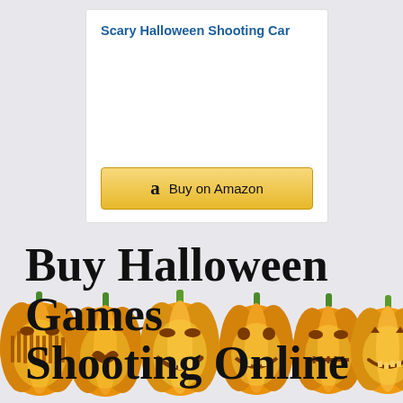Scary Halloween Shooting Car
[Figure (other): Amazon Buy on Amazon button with orange/yellow gradient background and Amazon logo 'a']
Buy Halloween Games Shooting Online
[Figure (illustration): Row of six carved Halloween jack-o-lantern pumpkins with glowing faces, orange and yellow colors with green stems, various expressions]